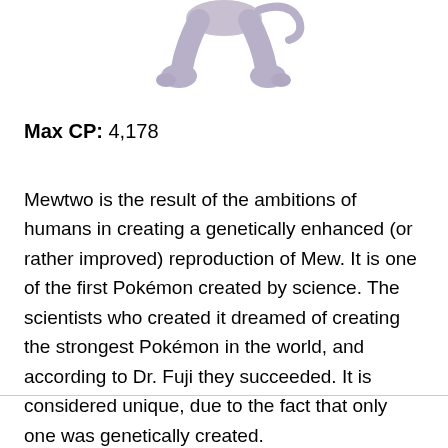[Figure (illustration): Partial image of Mewtwo Pokémon character showing lower body/legs against white background]
Max CP: 4,178
Mewtwo is the result of the ambitions of humans in creating a genetically enhanced (or rather improved) reproduction of Mew. It is one of the first Pokémon created by science. The scientists who created it dreamed of creating the strongest Pokémon in the world, and according to Dr. Fuji they succeeded. It is considered unique, due to the fact that only one was genetically created.